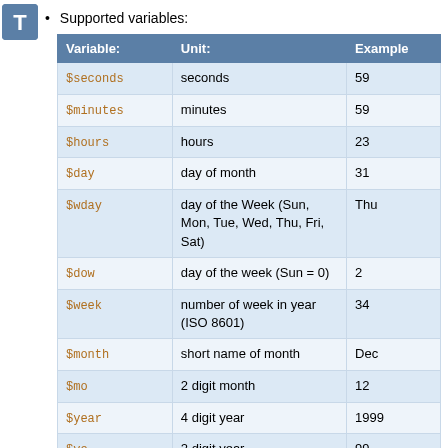Supported variables:
| Variable: | Unit: | Example |
| --- | --- | --- |
| $seconds | seconds | 59 |
| $minutes | minutes | 59 |
| $hours | hours | 23 |
| $day | day of month | 31 |
| $wday | day of the Week (Sun, Mon, Tue, Wed, Thu, Fri, Sat) | Thu |
| $dow | day of the week (Sun = 0) | 2 |
| $week | number of week in year (ISO 8601) | 34 |
| $month | short name of month | Dec |
| $mo | 2 digit month | 12 |
| $year | 4 digit year | 1999 |
| $ye | 2 digit year | 99 |
| $tz | either "GMT" (if set | GMT |